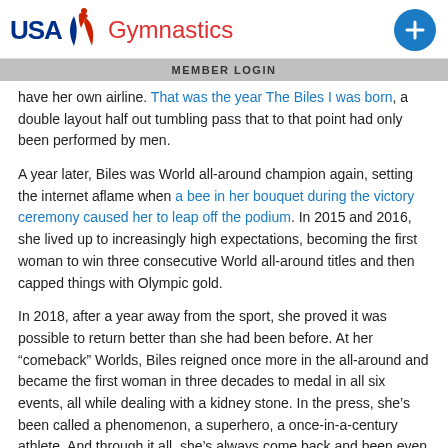USA Gymnastics | MEMBER LOGIN
have her own airline. That was the year The Biles I was born, a double layout half out tumbling pass that to that point had only been performed by men.
A year later, Biles was World all-around champion again, setting the internet aflame when a bee in her bouquet during the victory ceremony caused her to leap off the podium. In 2015 and 2016, she lived up to increasingly high expectations, becoming the first woman to win three consecutive World all-around titles and then capped things with Olympic gold.
In 2018, after a year away from the sport, she proved it was possible to return better than she had been before. At her “comeback” Worlds, Biles reigned once more in the all-around and became the first woman in three decades to medal in all six events, all while dealing with a kidney stone. In the press, she’s been called a phenomenon, a superhero, a once-in-a-century athlete. And through it all, she’s always come back and been even better, surprising even herself.